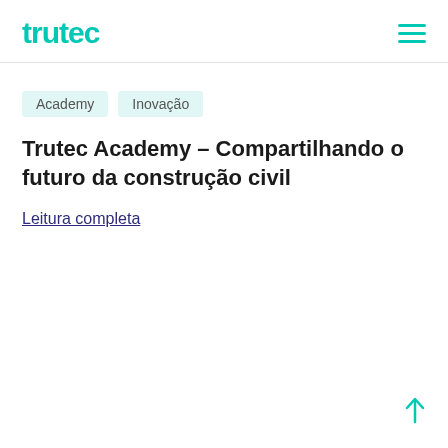trutec
Academy
Inovação
Trutec Academy – Compartilhando o futuro da construção civil
Leitura completa